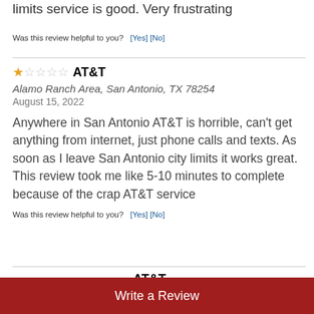limits service is good. Very frustrating
Was this review helpful to you?  [Yes] [No]
★☆☆☆☆ AT&T
Alamo Ranch Area, San Antonio, TX 78254
August 15, 2022
Anywhere in San Antonio AT&T is horrible, can't get anything from internet, just phone calls and texts. As soon as I leave San Antonio city limits it works great. This review took me like 5-10 minutes to complete because of the crap AT&T service
Was this review helpful to you?  [Yes] [No]
AT&T
Write a Review